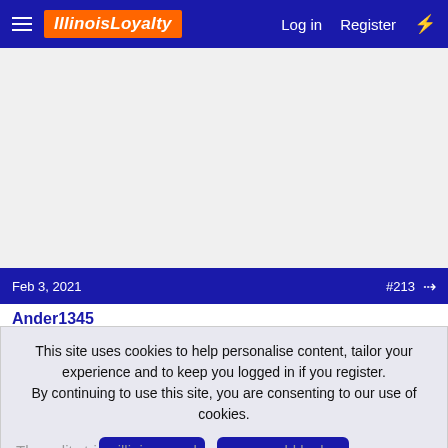IllinoisLoyalty  Log in  Register
[Figure (other): Advertisement area, blank gray background]
Feb 3, 2021  #213
Ander1345
This site uses cookies to help personalise content, tailor your experience and to keep you logged in if you register. By continuing to use this site, you are consenting to our use of cookies.
✓ Accept  Learn more...
View attachment 7279
The split stripe illini on modern gear would look awesome, or extremely high school. No inbetween.